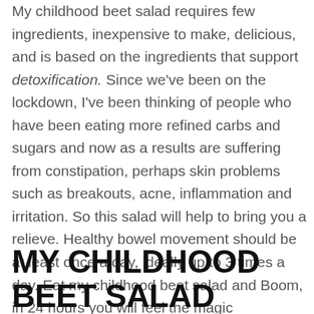My childhood beet salad requires few ingredients, inexpensive to make, delicious, and is based on the ingredients that support detoxification. Since we've been on the lockdown, I've been thinking of people who have been eating more refined carbs and sugars and now as a results are suffering from constipation, perhaps skin problems such as breakouts, acne, inflammation and irritation. So this salad will help to bring you a relieve. Healthy bowel movement should be at least once a day, ideally up to 3 times a day. Eat my childhood beet salad and Boom, in 24 hours you will feel the magic happening:)
MY CHILDHOOD BEET SALAD